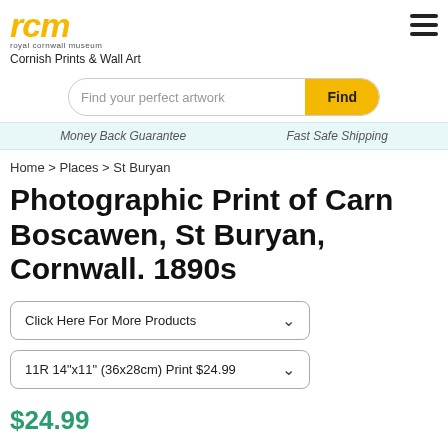rcm royal cornwall museum
Cornish Prints & Wall Art
Find your perfect artwork Find
Money Back Guarantee   Fast Safe Shipping
Home > Places > St Buryan
Photographic Print of Carn Boscawen, St Buryan, Cornwall. 1890s
Click Here For More Products
11R 14"x11" (36x28cm) Print $24.99
$24.99